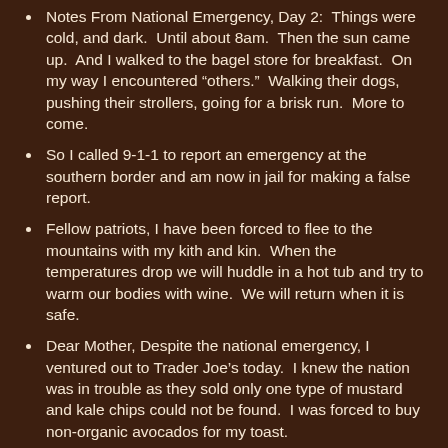Notes From National Emergency, Day 2:  Things were cold, and dark.  Until about 8am.  Then the sun came up.  And I walked to the bagel store for breakfast.  On my way I encountered "others."  Walking their dogs, pushing their strollers, going for a brisk run.  More to come.
So I called 9-1-1 to report an emergency at the southern border and am now in jail for making a false report.
Fellow patriots, I have been forced to flee to the mountains with my kith and kin.  When the temperatures drop we will huddle in a hot tub and try to warm our bodies with wine.  We will return when it is safe.
Dear Mother, Despite the national emergency, I ventured out to Trader Joe's today.  I knew the nation was in trouble as they sold only one type of mustard and kale chips could not be found.  I was forced to buy non-organic avocados for my toast.